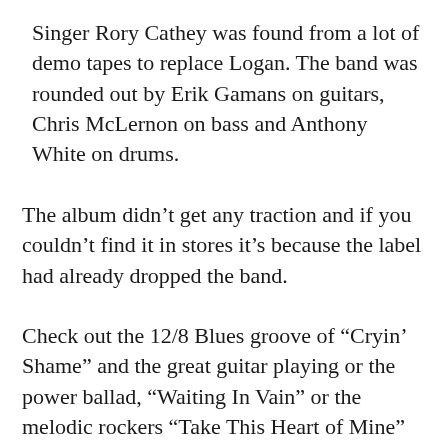Singer Rory Cathey was found from a lot of demo tapes to replace Logan. The band was rounded out by Erik Gamans on guitars, Chris McLernon on bass and Anthony White on drums.
The album didn't get any traction and if you couldn't find it in stores it's because the label had already dropped the band.
Check out the 12/8 Blues groove of “Cryin’ Shame” and the great guitar playing or the power ballad, “Waiting In Vain” or the melodic rockers “Take This Heart of Mine”